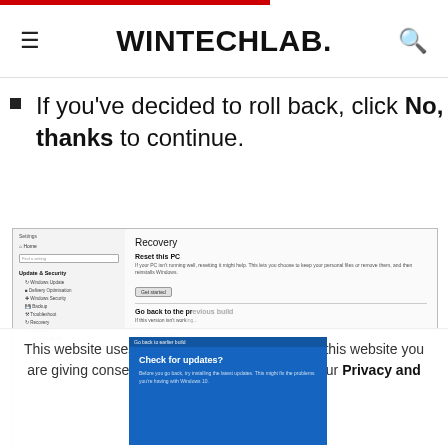WINTECHLAB.
If you've decided to roll back, click No, thanks to continue.
[Figure (screenshot): Windows 10 Settings > Update & Security > Recovery page showing Reset this PC, Go back to previous build sections, with a blue overlay dialog titled 'Check for updates?' asking the user before rolling back.]
This website uses cookies. By continuing to use this website you are giving consent to cookies being used. Visit our Privacy and Cookie Policy.